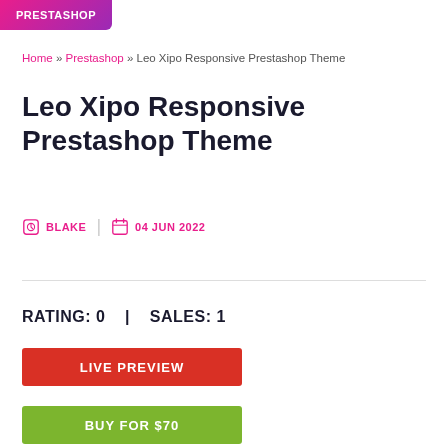PRESTASHOP
Home » Prestashop » Leo Xipo Responsive Prestashop Theme
Leo Xipo Responsive Prestashop Theme
BLAKE  |  04 JUN 2022
RATING: 0  |  SALES: 1
LIVE PREVIEW
BUY FOR $70